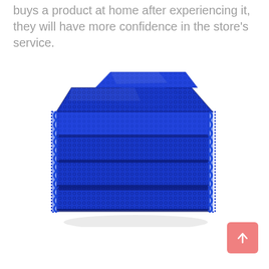buys a product at home after experiencing it, they will have more confidence in the store's service.
[Figure (photo): A stack of blue mesh net scrubbing cloths/sponges folded and piled on a white background.]